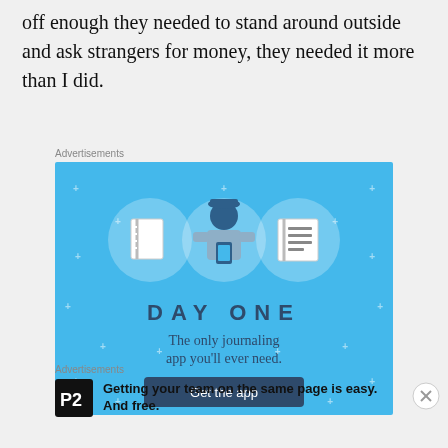off enough they needed to stand around outside and ask strangers for money, they needed it more than I did.
[Figure (illustration): DAY ONE journaling app advertisement. Light blue background with icons of a notebook, a person holding a phone, and a list. Text reads: DAY ONE - The only journaling app you'll ever need. Button: Get the app.]
[Figure (illustration): P2 app advertisement. Shows P2 logo and text: Getting your team on the same page is easy. And free.]